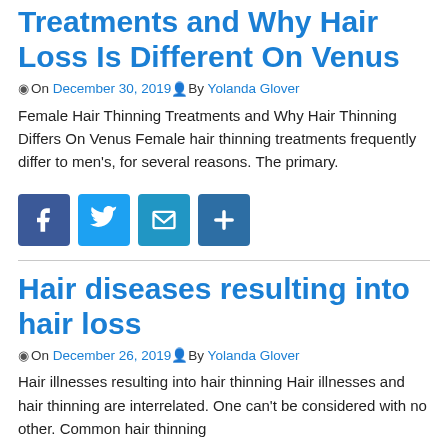Treatments and Why Hair Loss Is Different On Venus
On December 30, 2019 By Yolanda Glover
Female Hair Thinning Treatments and Why Hair Thinning Differs On Venus Female hair thinning treatments frequently differ to men's, for several reasons. The primary.
[Figure (other): Social share buttons: Facebook, Twitter, Email, Plus]
Hair diseases resulting into hair loss
On December 26, 2019 By Yolanda Glover
Hair illnesses resulting into hair thinning Hair illnesses and hair thinning are interrelated. One can't be considered with no other. Common hair thinning